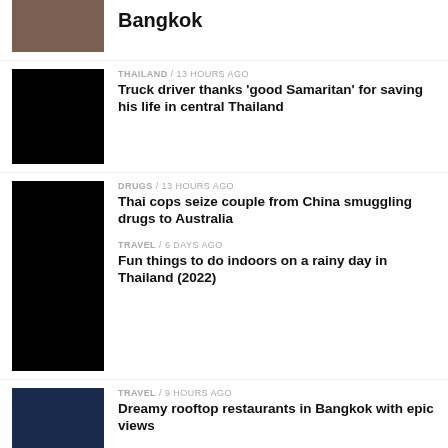[Figure (photo): Top news item thumbnail - person in Bangkok]
Bangkok
[Figure (photo): Black thumbnail for Thailand article]
THAILAND / 13 hours ago
Truck driver thanks 'good Samaritan' for saving his life in central Thailand
[Figure (photo): Black thumbnail for Drugs article]
DRUGS / 13 hours ago
Thai cops seize couple from China smuggling drugs to Australia
TRAVEL / 6 days ago
Fun things to do indoors on a rainy day in Thailand (2022)
[Figure (photo): Rooftop restaurant in Bangkok at night]
TRAVEL / 9 hours ago
Dreamy rooftop restaurants in Bangkok with epic views
[Figure (photo): Thumbnail for Monk/ladyboy article]
THAILAND / 4 days ago
Monk turned ladyboy bites back at netizens